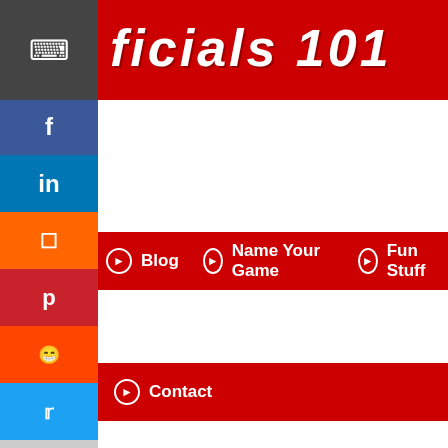ficials 101
ne  ❯ Blog  ❯ Name Your Game  ❯ Fun Stuff
ous Stuff  ❯ Contact
[Figure (screenshot): Social media share buttons sidebar: Facebook (f), LinkedIn (in), Share (box icon), Pinterest (p), Reddit (alien icon), Twitter (bird icon), Email (envelope), Print (printer)]
[Figure (screenshot): Embedded tweet white content area]
:23 PM · Jun 20, 2017
Reply  Copy link